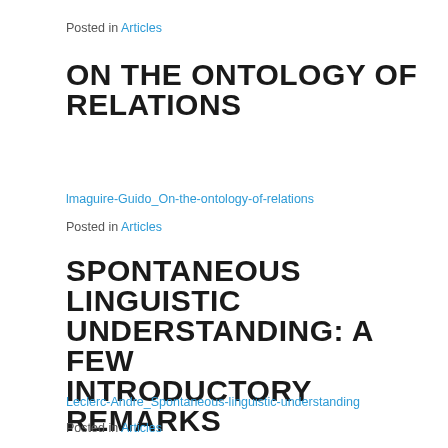Posted in Articles
ON THE ONTOLOGY OF RELATIONS
lmaguire-Guido_On-the-ontology-of-relations
Posted in Articles
SPONTANEOUS LINGUISTIC UNDERSTANDING: A FEW INTRODUCTORY REMARKS
Leclerc-Andre_Spontaneous-linguistic-understanding
Posted in Articles